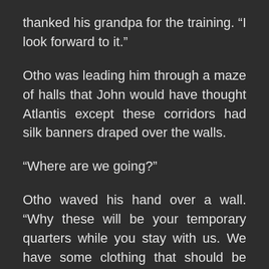thanked his grandpa for the training. “I look forward to it.”
Otho was leading him through a maze of halls that John would have thought Atlantis except these corridors had silk banners draped over the walls.
“Where are we going?”
Otho waved his hand over a wall. “Why these will be your temporary quarters while you stay with us. We have some clothing that should be able to fit you, and it will ensure you are comfortable for